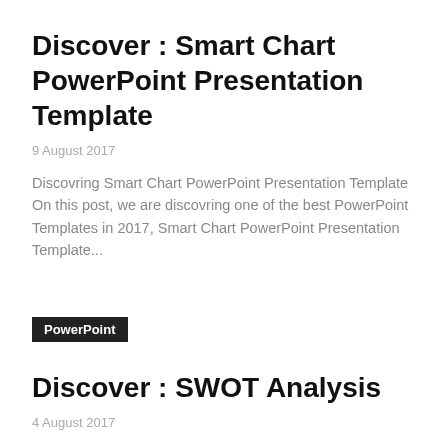Discover : Smart Chart PowerPoint Presentation Template
9 August 2017
Discovring Smart Chart PowerPoint Presentation Template On this post, we are discovring one of the best PowerPoint Templates in 2017, Smart Chart PowerPoint Presentation Template...
PowerPoint
Discover : SWOT Analysis
4 August 2017